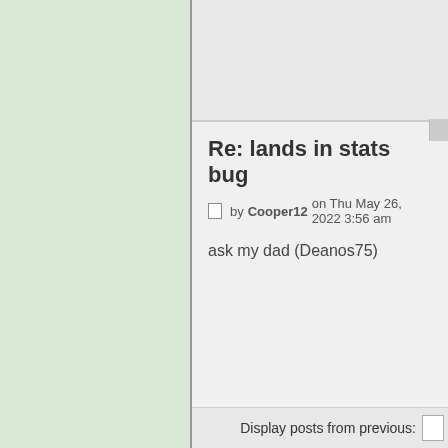Re: lands in stats bug
by Cooper12 on Thu May 26, 2022 3:56 am
ask my dad (Deanos75)
Display posts from previous: